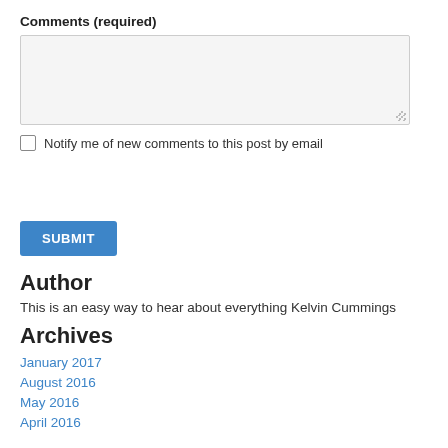Comments (required)
[Figure (screenshot): Empty textarea input box with light gray background and resize handle]
Notify me of new comments to this post by email
[Figure (screenshot): Blue SUBMIT button]
Author
This is an easy way to hear about everything Kelvin Cummings
Archives
January 2017
August 2016
May 2016
April 2016